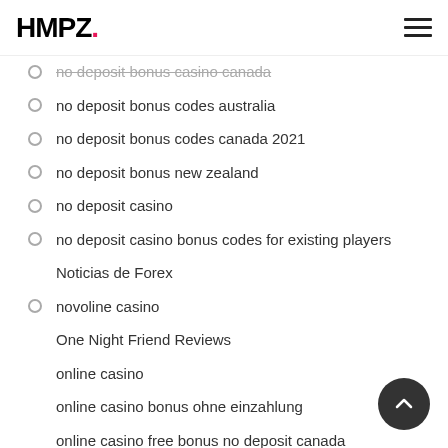HMPZ.
no deposit bonus casino canada
no deposit bonus codes australia
no deposit bonus codes canada 2021
no deposit bonus new zealand
no deposit casino
no deposit casino bonus codes for existing players
Noticias de Forex
novoline casino
One Night Friend Reviews
online casino
online casino bonus ohne einzahlung
online casino free bonus no deposit canada